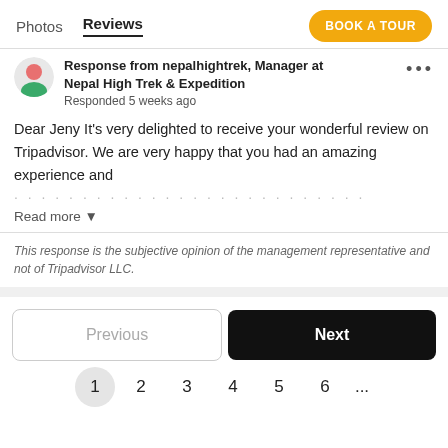Photos  Reviews  BOOK A TOUR
Response from nepalhightrek, Manager at Nepal High Trek & Expedition
Responded 5 weeks ago
Dear Jeny It's very delighted to receive your wonderful review on Tripadvisor. We are very happy that you had an amazing experience and
Read more
This response is the subjective opinion of the management representative and not of Tripadvisor LLC.
Previous
Next
1  2  3  4  5  6  ...
Looking for something else?